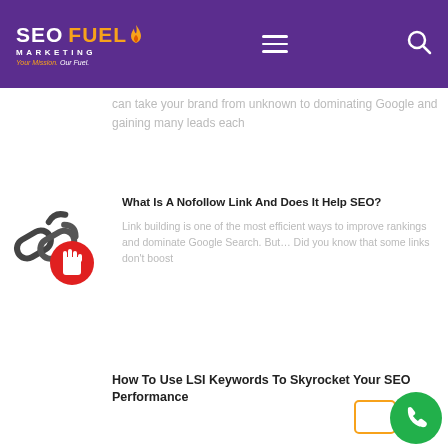[Figure (logo): SEO Fuel Marketing logo with flame icon, tagline 'Your Mission. Our Fuel.']
can take your brand from unknown to dominating Google and gaining many leads each
What Is A Nofollow Link And Does It Help SEO?
[Figure (illustration): Chain links with a red hand/stop icon illustration]
Link building is one of the most efficient ways to improve rankings and dominate Google Search. But… Did you know that some links don't boost
How To Use LSI Keywords To Skyrocket Your SEO Performance